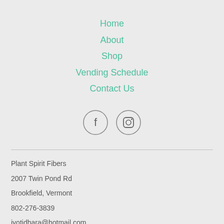Home
About
Shop
Vending Schedule
Contact Us
[Figure (illustration): Two circular social media icons: Facebook (f) and Instagram (camera)]
Plant Spirit Fibers
2007 Twin Pond Rd
Brookfield, Vermont
802-276-3839
jyotidhara@hotmail.com